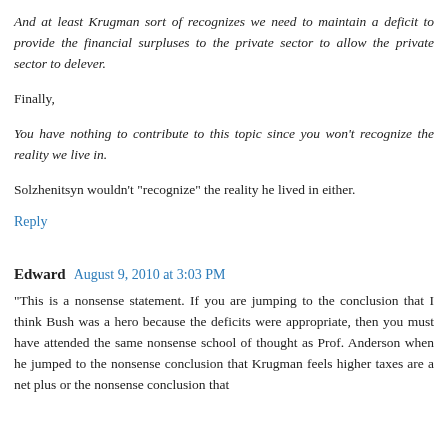And at least Krugman sort of recognizes we need to maintain a deficit to provide the financial surpluses to the private sector to allow the private sector to delever.
Finally,
You have nothing to contribute to this topic since you won't recognize the reality we live in.
Solzhenitsyn wouldn't "recognize" the reality he lived in either.
Reply
Edward  August 9, 2010 at 3:03 PM
"This is a nonsense statement. If you are jumping to the conclusion that I think Bush was a hero because the deficits were appropriate, then you must have attended the same nonsense school of thought as Prof. Anderson when he jumped to the nonsense conclusion that Krugman feels higher taxes are a net plus or the nonsense conclusion that